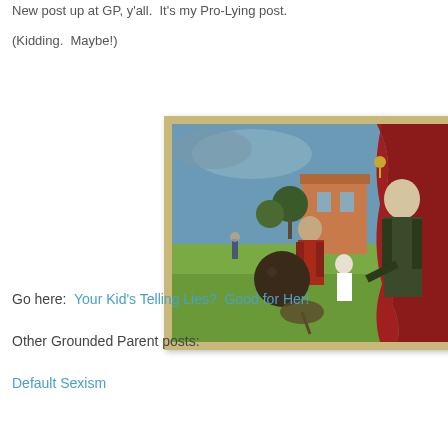New post up at GP, y'all.  It's my Pro-Lying post.
(Kidding.  Maybe!)
[Figure (illustration): Painting depicting a colonial scene — a man in a red coat with a large dark sphere, a child figure, and a colonial gentleman in dark coat on a green lawn with a building and red curtain backdrop. Ornate gold frame.]
Go here:  Your Kid's Telling Lies?  Good for Her!
Other Grounded Parent posts:
Default Sexism